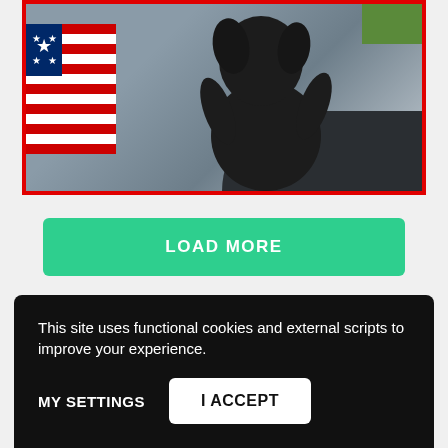[Figure (photo): A dark dog (appears to be a black Labrador) inside or near a car, with an American flag visible on the left side and green grass in the top right corner. The image has a red border.]
LOAD MORE
This site uses functional cookies and external scripts to improve your experience.
MY SETTINGS
I ACCEPT